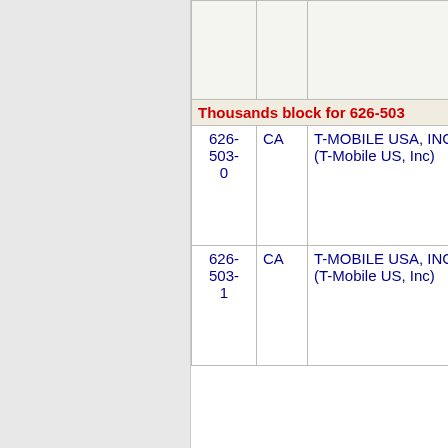| Number | State | Company | Code |
| --- | --- | --- | --- |
| 626-503-0 | CA | T-MOBILE USA, INC. (T-Mobile US, Inc) | 6529 |
| 626-503-1 | CA | T-MOBILE USA, INC. (T-Mobile US, Inc) | 6529 |